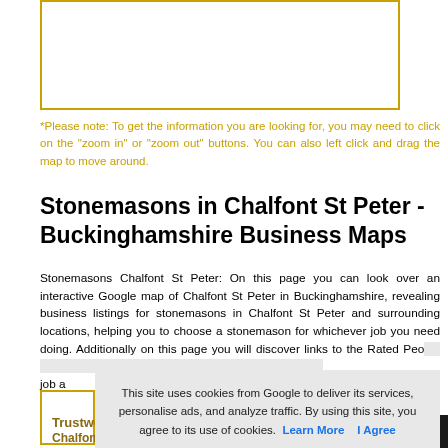[Figure (other): Map placeholder with gold/yellow border]
*Please note: To get the information you are looking for, you may need to click on the "zoom in" or "zoom out" buttons. You can also left click and drag the map to move around.
Stonemasons in Chalfont St Peter - Buckinghamshire Business Maps
Stonemasons Chalfont St Peter: On this page you can look over an interactive Google map of Chalfont St Peter in Buckinghamshire, revealing business listings for stonemasons in Chalfont St Peter and surrounding locations, helping you to choose a stonemason for whichever job you need doing. Additionally on this page you will discover links to the Rated People site where you will be able to outline your stonemason job a... At t... revie...
This site uses cookies from Google to deliver its services, personalise ads, and analyze traffic. By using this site, you agree to its use of cookies. Learn More   I Agree
Trustworthy